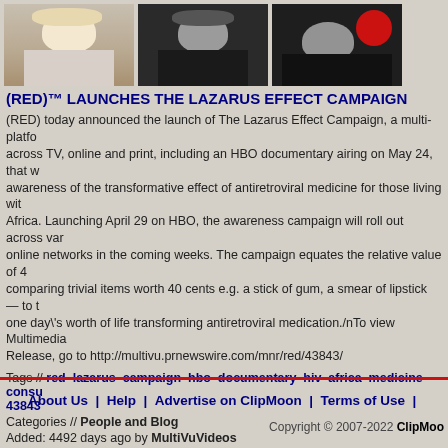[Figure (photo): Three video thumbnails side by side: a blonde woman holding an orange, a young man in dark background, and a woman with a red balloon.]
(RED)™ LAUNCHES THE LAZARUS EFFECT CAMPAIGN
(RED) today announced the launch of The Lazarus Effect Campaign, a multi-platform campaign across TV, online and print, including an HBO documentary airing on May 24, that will raise awareness of the transformative effect of antiretroviral medicine for those living with HIV in Africa. Launching April 29 on HBO, the awareness campaign will roll out across various online networks in the coming weeks. The campaign equates the relative value of 40 cents by comparing trivial items worth 40 cents e.g. a stick of gum, a smear of lipstick — to the cost of one day\'s worth of life transforming antiretroviral medication./nTo view Multimedia News Release, go to http://multivu.prnewswire.com/mnr/red/43843/
Tags // red lazarus campaign hbo documentary hiv africa medicine consu... 43843
Categories // People and Blog
Added: 4492 days ago by MultiVuVideos
Runtime: 1m2s | Views: 7222 | Comments: 1
[Figure (other): 5 blue star rating icons]
Page 1 of 1  |  Go to page  1
About Us  |  Help  |  Advertise on ClipMoon  |  Terms of Use  |  Copyright © 2007-2022 ClipMoo...